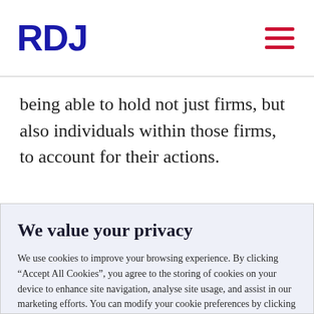RDJ
being able to hold not just firms, but also individuals within those firms, to account for their actions.
It is expected that once the draft legislation is
We value your privacy
We use cookies to improve your browsing experience. By clicking “Accept All Cookies”, you agree to the storing of cookies on your device to enhance site navigation, analyse site usage, and assist in our marketing efforts. You can modify your cookie preferences by clicking on cookie settings within our Cookie Policy
Aa | Manage Choices | Accept All Cookies